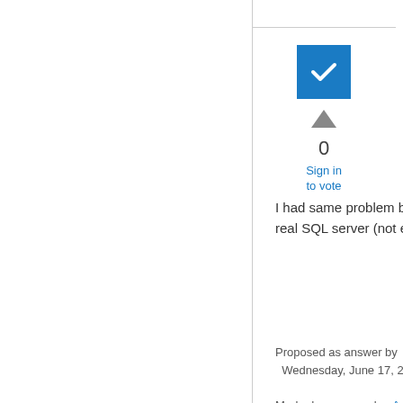[Figure (other): Blue checkbox icon with white checkmark]
0
Sign in to vote
I had same problem but not on a DC.  We pointed to a real SQL server (not express) and all was fine.
Proposed as answer by  MJI9  Wednesday, June 17, 2009 11:24 AM
Marked as answer by  Aaron.Parker  Moderator  Thursday, December 29, 2011 5:03 PM